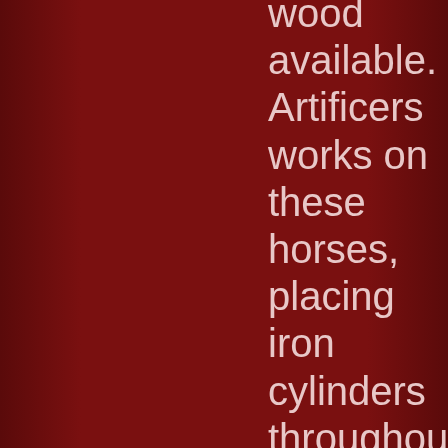wood available. Artificers works on these horses, placing iron cylinders throughout the wooden constructions